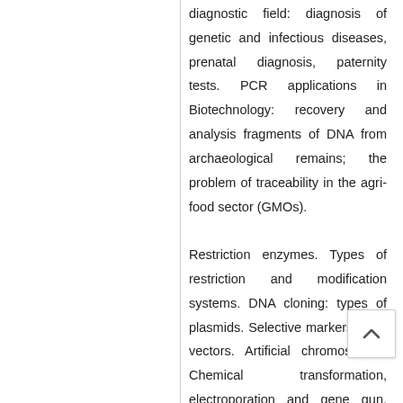diagnostic field: diagnosis of genetic and infectious diseases, prenatal diagnosis, paternity tests. PCR applications in Biotechnology: recovery and analysis fragments of DNA from archaeological remains; the problem of traceability in the agri-food sector (GMOs). Restriction enzymes. Types of restriction and modification systems. DNA cloning: types of plasmids. Selective markers. Viral vectors. Artificial chromosomes. Chemical transformation, electroporation and gene gun. Genomic libraries. cDNA libraries and Post-genomic analysis: